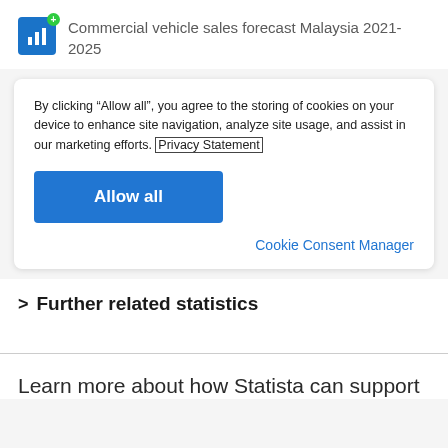Commercial vehicle sales forecast Malaysia 2021-2025
By clicking “Allow all”, you agree to the storing of cookies on your device to enhance site navigation, analyze site usage, and assist in our marketing efforts. Privacy Statement
Allow all
Cookie Consent Manager
Further related statistics
Learn more about how Statista can support